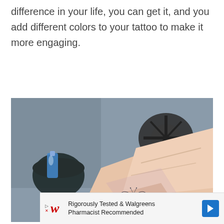difference in your life, you can get it, and you add different colors to your tattoo to make it more engaging.
[Figure (photo): Close-up photo of a hand with a small butterfly tattoo on a finger, with blurred background showing dark objects.]
Rigorously Tested & Walgreens Pharmacist Recommended